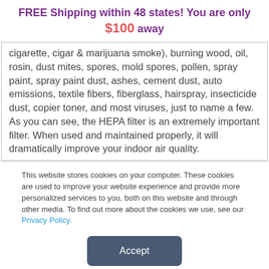FREE Shipping within 48 states! You are only $100 away
cigarette, cigar & marijuana smoke), burning wood, oil, rosin, dust mites, spores, mold spores, pollen, spray paint, spray paint dust, ashes, cement dust, auto emissions, textile fibers, fiberglass, hairspray, insecticide dust, copier toner, and most viruses, just to name a few. As you can see, the HEPA filter is an extremely important filter. When used and maintained properly, it will dramatically improve your indoor air quality.
This website stores cookies on your computer. These cookies are used to improve your website experience and provide more personalized services to you, both on this website and through other media. To find out more about the cookies we use, see our Privacy Policy.
Accept